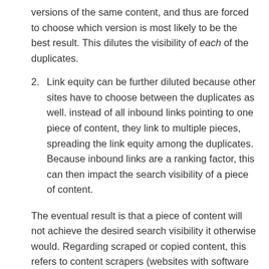versions of the same content, and thus are forced to choose which version is most likely to be the best result. This dilutes the visibility of each of the duplicates.
Link equity can be further diluted because other sites have to choose between the duplicates as well. instead of all inbound links pointing to one piece of content, they link to multiple pieces, spreading the link equity among the duplicates. Because inbound links are a ranking factor, this can then impact the search visibility of a piece of content.
The eventual result is that a piece of content will not achieve the desired search visibility it otherwise would. Regarding scraped or copied content, this refers to content scrapers (websites with software tools) that steal your content for their own blogs. Content referred here, includes not only blog posts or editorial content, but also product information pages. Scrapers republishing your blog content on their own sites may be